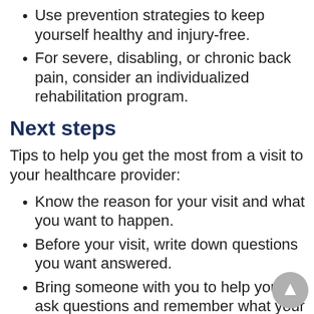Use prevention strategies to keep yourself healthy and injury-free.
For severe, disabling, or chronic back pain, consider an individualized rehabilitation program.
Next steps
Tips to help you get the most from a visit to your healthcare provider:
Know the reason for your visit and what you want to happen.
Before your visit, write down questions you want answered.
Bring someone with you to help you ask questions and remember what your provider tells you.
At the visit, write down the name of a new diagnosis and any new medicines, treatments, or tests. Also write down any new instructions your provider gives you.